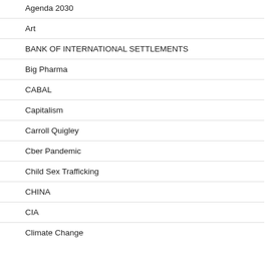Agenda 2030
Art
BANK OF INTERNATIONAL SETTLEMENTS
Big Pharma
CABAL
Capitalism
Carroll Quigley
Cber Pandemic
Child Sex Trafficking
CHINA
CIA
Climate Change